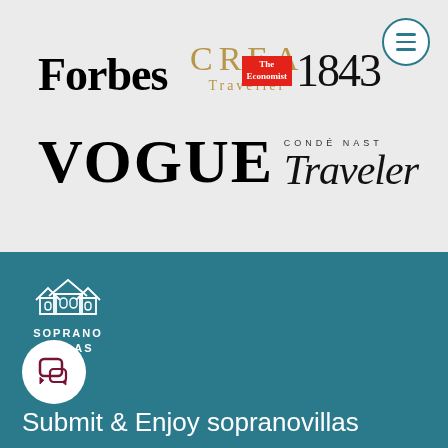[Figure (logo): Forbes logo in bold serif black text]
[Figure (logo): CREA Traveller logo in gold serif text]
[Figure (logo): The Economist 1843 magazine logo with red box and serif numerals]
[Figure (logo): VOGUE logo in large bold serif black text]
[Figure (logo): Condé Nast Traveler logo in serif italic text]
[Figure (logo): Soprano Villas logo with house outline icon and white text on teal background]
[Figure (illustration): Chat bubble button icon, white circle with dark chat icon]
Submit & Enjoy sopranovillas